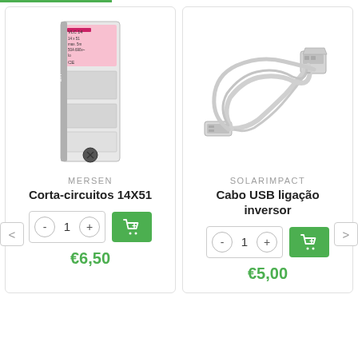[Figure (photo): Circuit breaker / fuse holder product - MERSEN Corta-circuitos 14X51, white vertical component with pink label]
MERSEN
Corta-circuitos 14X51
€6,50
[Figure (photo): White USB cable with USB-A and USB-B connectors, coiled, on white background]
SOLARIMPACT
Cabo USB ligação inversor
€5,00